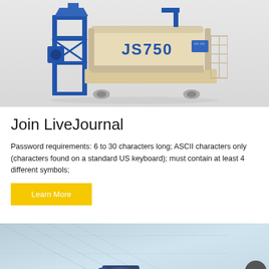[Figure (photo): JS750 concrete mixer machine, beige/cream colored drum with blue structural frame, labeled JS750 in blue letters on the drum]
Join LiveJournal
Password requirements: 6 to 30 characters long; ASCII characters only (characters found on a standard US keyboard); must contain at least 4 different symbols;
[Figure (photo): Partial view of industrial equipment/mixer against a light blue architectural background, with a circular scroll-to-top button in the lower right corner]